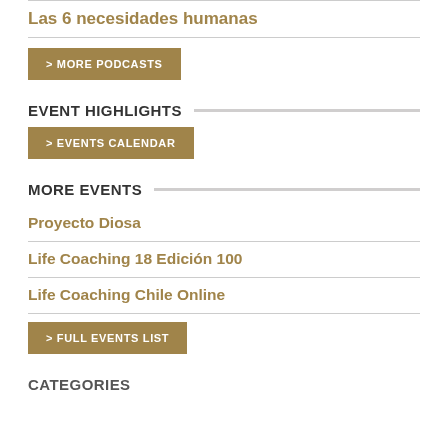Las 6 necesidades humanas
> MORE PODCASTS
EVENT HIGHLIGHTS
> EVENTS CALENDAR
MORE EVENTS
Proyecto Diosa
Life Coaching 18 Edición 100
Life Coaching Chile Online
> FULL EVENTS LIST
CATEGORIES